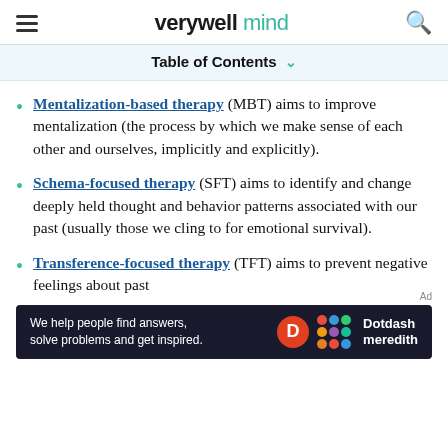verywell mind
Table of Contents
Mentalization-based therapy (MBT) aims to improve mentalization (the process by which we make sense of each other and ourselves, implicitly and explicitly).
Schema-focused therapy (SFT) aims to identify and change deeply held thought and behavior patterns associated with our past (usually those we cling to for emotional survival).
Transference-focused therapy (TFT) aims to prevent negative feelings about past
[Figure (other): Dotdash Meredith ad banner with text: We help people find answers, solve problems and get inspired.]